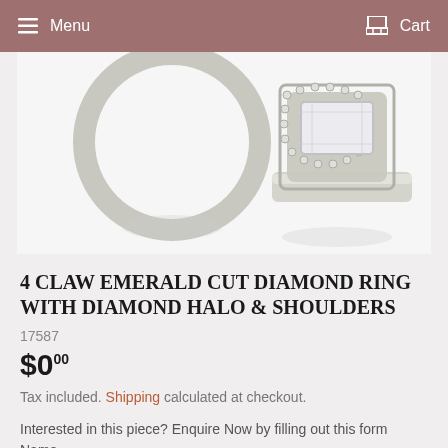Menu   Cart
[Figure (photo): Close-up photo of a diamond engagement ring with emerald cut center stone surrounded by a diamond halo, set in white metal, shown against a white background with reflection.]
4 CLAW EMERALD CUT DIAMOND RING WITH DIAMOND HALO & SHOULDERS
17587
$0.00
Tax included. Shipping calculated at checkout.
Interested in this piece? Enquire Now by filling out this form
Name